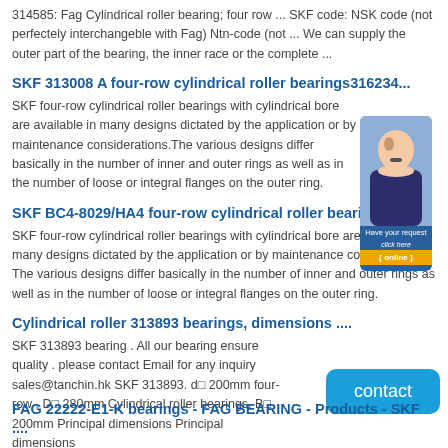314585: Fag Cylindrical roller bearing; four row ... SKF code: NSK code (not perfectely interchangeble with Fag) Ntn-code (not ... We can supply the outer part of the bearing, the inner race or the complete ...
SKF 313008 A four-row cylindrical roller bearings316234...
SKF four-row cylindrical roller bearings with cylindrical bore are available in many designs dictated by the application or by maintenance considerations.The various designs differ basically in the number of inner and outer rings as well as in the number of loose or integral flanges on the outer ring.
SKF BC4-8029/HA4 four-row cylindrical roller bearings ....
SKF four-row cylindrical roller bearings with cylindrical bore are available in many designs dictated by the application or by maintenance considerations. The various designs differ basically in the number of inner and outer rings as well as in the number of loose or integral flanges on the outer ring.
Cylindrical roller 313893 bearings, dimensions ....
SKF 313893 bearing . All our bearing ensure quality . please contact Email for any inquiry sales@tanchin.hk SKF 313893. d□ 200mm four-row . D□ 280mm Cylindrical roller bearings, B□ 200mm Principal dimensions Principal dimensions
FAG 22222-E1-K bearings - FAG BEARING - Products - SKF ....